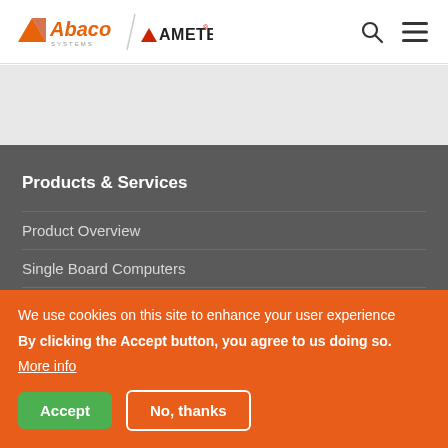[Figure (logo): Abaco Systems / AMETEK logo in header, with search and hamburger menu icons]
Products & Services
Product Overview
Single Board Computers
Digital Signal Processing
We use cookies on this site to enhance your user experience
By clicking the Accept button, you agree to us doing so.
More info
Accept
No, thanks